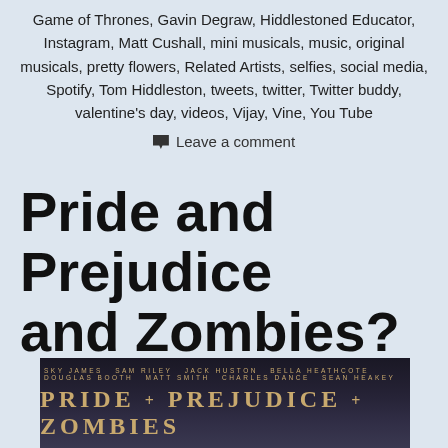Game of Thrones, Gavin Degraw, Hiddlestoned Educator, Instagram, Matt Cushall, mini musicals, music, original musicals, pretty flowers, Related Artists, selfies, social media, Spotify, Tom Hiddleston, tweets, twitter, Twitter buddy, valentine's day, videos, Vijay, Vine, You Tube
Leave a comment
Pride and Prejudice and Zombies?
[Figure (photo): Movie poster for Pride + Prejudice + Zombies showing cast names at top in small gold text and the film title in large gold serif letters, with a dark moody background and a figure visible below]